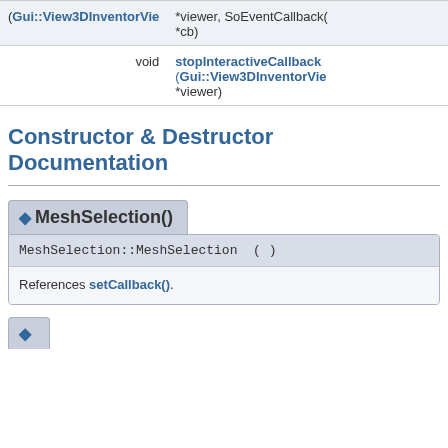| type | signature |
| --- | --- |
| void | stopInteractiveCallback (Gui::View3DInventorVie *viewer) |
Constructor & Destructor Documentation
◆ MeshSelection()
MeshSelection::MeshSelection ( )
References setCallback().
◆ (another member, partial)